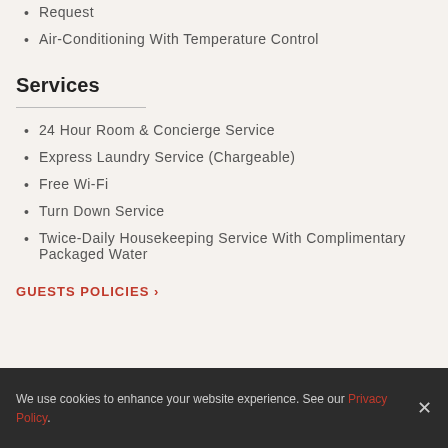Request
Air-Conditioning With Temperature Control
Services
24 Hour Room & Concierge Service
Express Laundry Service (Chargeable)
Free Wi-Fi
Turn Down Service
Twice-Daily Housekeeping Service With Complimentary Packaged Water
GUESTS POLICIES >
We use cookies to enhance your website experience. See our Privacy Policy.